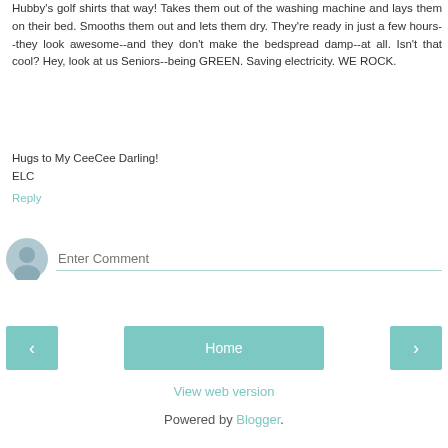Hubby's golf shirts that way! Takes them out of the washing machine and lays them on their bed. Smooths them out and lets them dry. They're ready in just a few hours--they look awesome--and they don't make the bedspread damp--at all. Isn't that cool? Hey, look at us Seniors--being GREEN. Saving electricity. WE ROCK.
Hugs to My CeeCee Darling!
ELC
Reply
[Figure (other): User avatar placeholder icon — circular grey silhouette]
Enter Comment
< (previous) | Home | > (next) navigation buttons
View web version
Powered by Blogger.